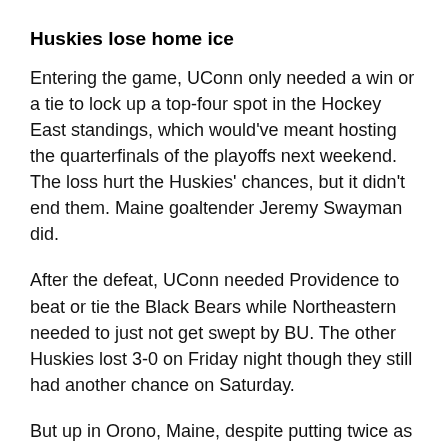Huskies lose home ice
Entering the game, UConn only needed a win or a tie to lock up a top-four spot in the Hockey East standings, which would've meant hosting the quarterfinals of the playoffs next weekend. The loss hurt the Huskies' chances, but it didn't end them. Maine goaltender Jeremy Swayman did.
After the defeat, UConn needed Providence to beat or tie the Black Bears while Northeastern needed to just not get swept by BU. The other Huskies lost 3-0 on Friday night though they still had another chance on Saturday.
But up in Orono, Maine, despite putting twice as many shots on net (48-24), Providence just couldn't find the back of the net to help UConn out. Maine finally broke…